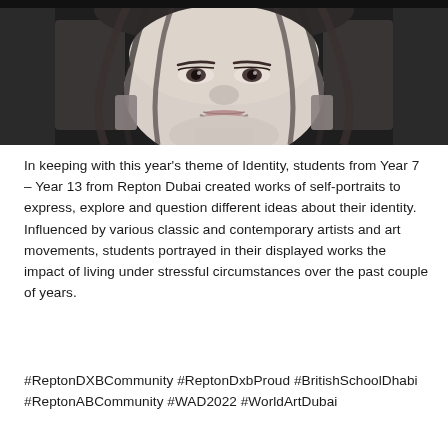[Figure (illustration): Black and white pencil/charcoal self-portrait drawing of a person's face and neck, showing detailed hair, earrings, and facial features in a realistic style against a dark background.]
In keeping with this year's theme of Identity, students from Year 7 – Year 13 from Repton Dubai created works of self-portraits to express, explore and question different ideas about their identity. Influenced by various classic and contemporary artists and art movements, students portrayed in their displayed works the impact of living under stressful circumstances over the past couple of years.
#ReptonDXBCommunity #ReptonDxbProud #BritishSchoolDhabi #ReptonABCommunity #WAD2022 #WorldArtDubai